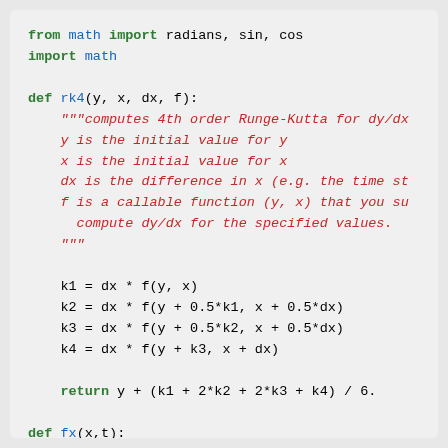from math import radians, sin, cos
import math

def rk4(y, x, dx, f):
    """computes 4th order Runge-Kutta for dy/dx
    y is the initial value for y
    x is the initial value for x
    dx is the difference in x (e.g. the time st
    f is a callable function (y, x) that you su
      compute dy/dx for the specified values.
    """

    k1 = dx * f(y, x)
    k2 = dx * f(y + 0.5*k1, x + 0.5*dx)
    k3 = dx * f(y + 0.5*k2, x + 0.5*dx)
    k4 = dx * f(y + k3, x + dx)

    return y + (k1 + 2*k2 + 2*k3 + k4) / 6.

def fx(x,t):
    return fx.vel

def fy(y,t):
    return fy.vel - 9.8*t